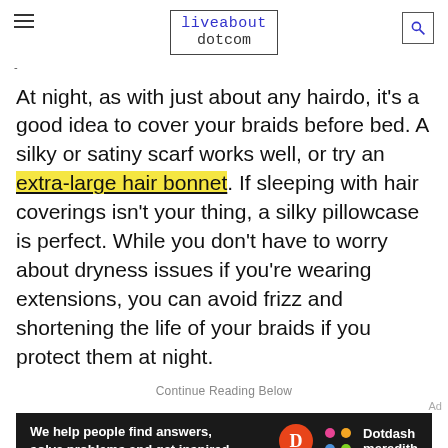liveabout dotcom
At night, as with just about any hairdo, it's a good idea to cover your braids before bed. A silky or satiny scarf works well, or try an extra-large hair bonnet. If sleeping with hair coverings isn't your thing, a silky pillowcase is perfect. While you don't have to worry about dryness issues if you're wearing extensions, you can avoid frizz and shortening the life of your braids if you protect them at night.
Continue Reading Below
[Figure (other): Dotdash Meredith advertisement banner: 'We help people find answers, solve problems and get inspired.' with Dotdash Meredith logo]